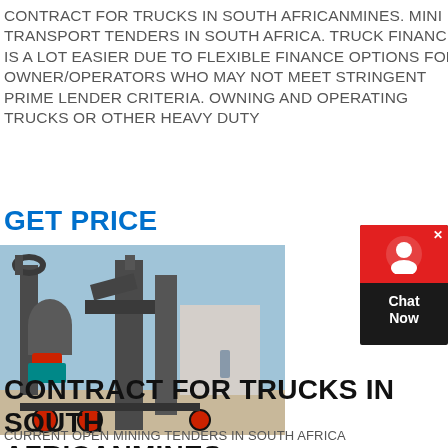CONTRACT FOR TRUCKS IN SOUTH AFRICANMINES. MINING TRANSPORT TENDERS IN SOUTH AFRICA. TRUCK FINANCE IS A LOT EASIER DUE TO FLEXIBLE FINANCE OPTIONS FOR OWNER/OPERATORS WHO MAY NOT MEET STRINGENT PRIME LENDER CRITERIA. OWNING AND OPERATING TRUCKS OR OTHER HEAVY DUTY
GET PRICE
[Figure (photo): Industrial milling or grinding machine equipment with vertical towers, pipes and wheels, photographed outdoors at a construction or mining site]
[Figure (other): Chat Now widget: red circular chat icon on red background with dark body panel showing 'Chat Now' text in white]
CONTRACT FOR TRUCKS IN SOUTH AFRICANMINES
CURRENT OPEN MINING TENDERS IN SOUTH AFRICA